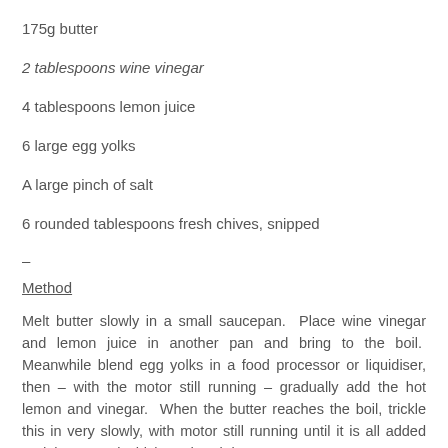175g butter
2 tablespoons wine vinegar
4 tablespoons lemon juice
6 large egg yolks
A large pinch of salt
6 rounded tablespoons fresh chives, snipped
–
Method
Melt butter slowly in a small saucepan.  Place wine vinegar and lemon juice in another pan and bring to the boil.  Meanwhile blend egg yolks in a food processor or liquidiser, then – with the motor still running – gradually add the hot lemon and vinegar.  When the butter reaches the boil, trickle this in very slowly, with motor still running until it is all added and the sauce is thickened.  Stir in